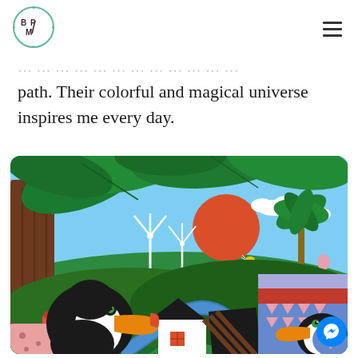[Figure (logo): BPM logo in a circle with letters B, P, M and decorative elements]
path. Their colorful and magical universe inspires me every day.
[Figure (illustration): Colorful flat illustration showing a tropical scene with toucans, wind turbines, a red sun, palm trees, rolling green hills, buildings, and a blue river path]